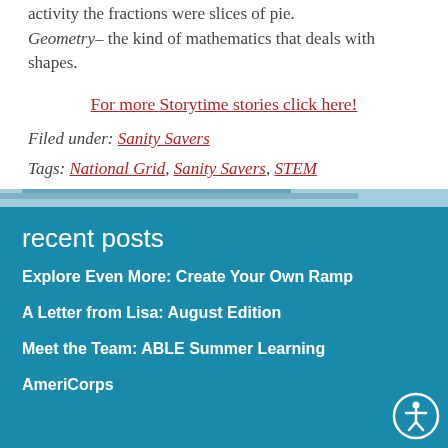activity the fractions were slices of pie. Geometry– the kind of mathematics that deals with shapes.
For more Storytime stories click here!
Filed under: Sanity Savers
Tags: National Grid, Sanity Savers, STEM
recent posts
Explore Even More: Create Your Own Ramp
A Letter from Lisa: August Edition
Meet the Team: ABLE Summer Learning AmeriCorps